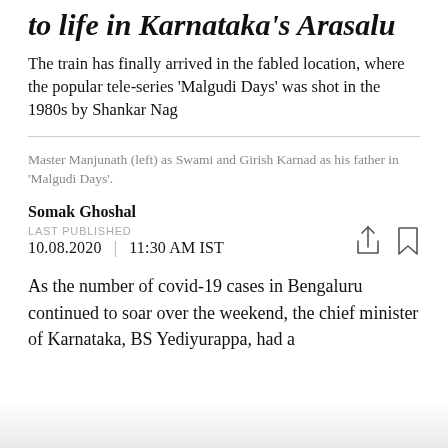to life in Karnataka's Arasalu
The train has finally arrived in the fabled location, where the popular tele-series 'Malgudi Days' was shot in the 1980s by Shankar Nag
Master Manjunath (left) as Swami and Girish Karnad as his father in 'Malgudi Days'.
Somak Ghoshal
LAST PUBLISHED
10.08.2020  |  11:30 AM IST
As the number of covid-19 cases in Bengaluru continued to soar over the weekend, the chief minister of Karnataka, BS Yediyurappa, had a